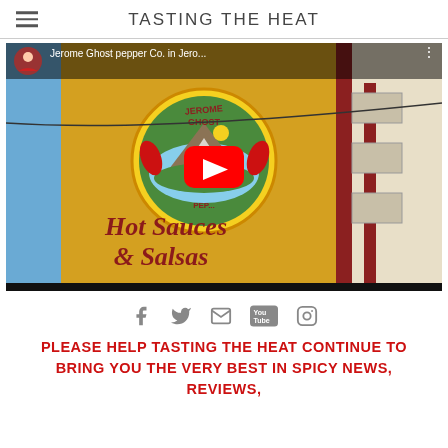TASTING THE HEAT
[Figure (screenshot): YouTube video thumbnail for 'Jerome Ghost pepper Co. in Jero...' showing a yellow building wall with a circular logo for Jerome Ghost Pepper Co. and text 'Hot Sauces & Salsas' in dark red. A red YouTube play button is overlaid in the center. Top bar shows a user avatar and video title.]
f  twitter  email  YouTube  Instagram (social media icons)
PLEASE HELP TASTING THE HEAT CONTINUE TO BRING YOU THE VERY BEST IN SPICY NEWS, REVIEWS,